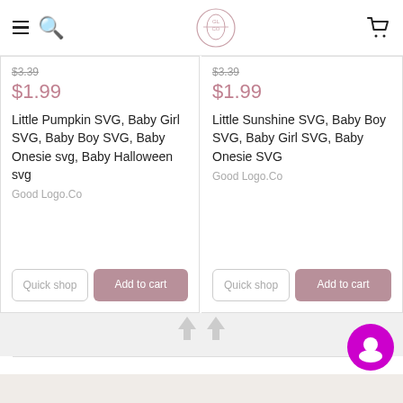Good Logo.Co — Navigation header with menu, search, logo, and cart
$3.39 (strikethrough) $1.99 — Little Pumpkin SVG, Baby Girl SVG, Baby Boy SVG, Baby Onesie svg, Baby Halloween svg — Good Logo.Co
$3.39 (strikethrough) $1.99 — Little Sunshine SVG, Baby Boy SVG, Baby Girl SVG, Baby Onesie SVG — Good Logo.Co
[Figure (screenshot): Magenta circular chat support widget button]